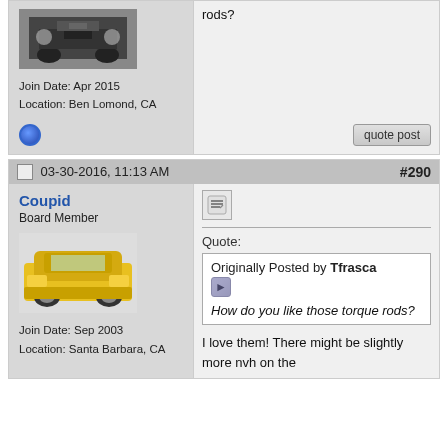[Figure (photo): Front view of a dark/black vintage BMW car]
Join Date: Apr 2015
Location: Ben Lomond, CA
rods?
quote post
03-30-2016, 11:13 AM   #290
Coupid
Board Member
[Figure (photo): Yellow vintage BMW sedan car on a light background]
Join Date: Sep 2003
Location: Santa Barbara, CA
Quote:
Originally Posted by Tfrasca
How do you like those torque rods?
I love them! There might be slightly more nvh on the